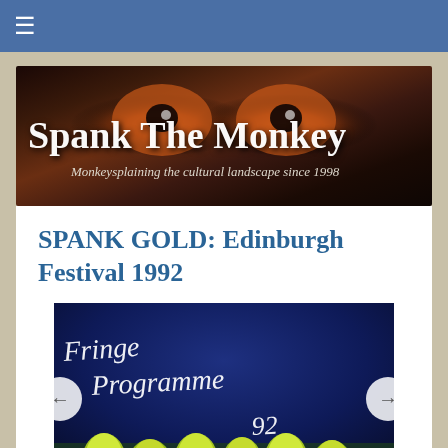≡
[Figure (illustration): Spank The Monkey website banner showing large white serif text 'Spank The Monkey' over a dark background with monkey eyes visible, and subtitle 'Monkeysplaining the cultural landscape since 1998']
SPANK GOLD: Edinburgh Festival 1992
[Figure (photo): Edinburgh Fringe Programme 1992 cover showing handwritten-style white text 'Fringe Programme 92' on a dark blue background with yellow-green fingerprint/flower shapes at the bottom and hands visible]